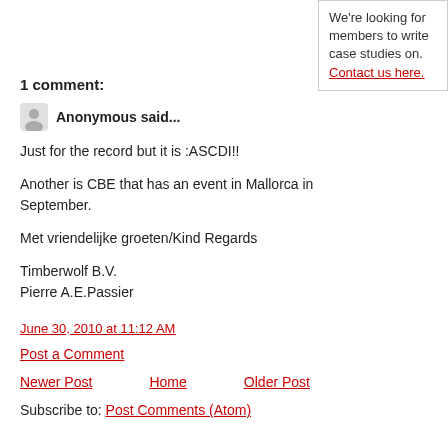We're looking for members to write case studies on. Contact us here.
1 comment:
Anonymous said...
Just for the record but it is :ASCDI!!
Another is CBE that has an event in Mallorca in September.
Met vriendelijke groeten/Kind Regards
Timberwolf B.V.
Pierre A.E.Passier
June 30, 2010 at 11:12 AM
Post a Comment
Newer Post   Home   Older Post
Subscribe to: Post Comments (Atom)